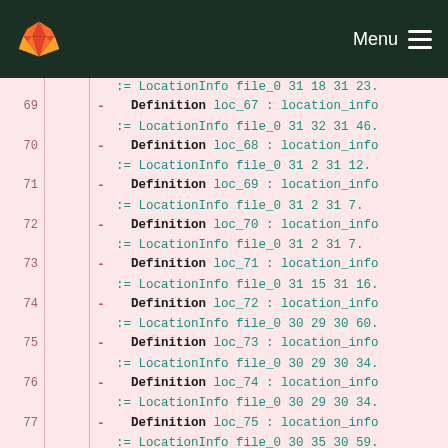GitLab navigation — Menu
[Figure (screenshot): GitLab diff view showing deleted lines (red background) numbered 69-77 and one added line (green background) numbered 44, containing Coq/formal verification code defining location_info records with LocationInfo constructors.]